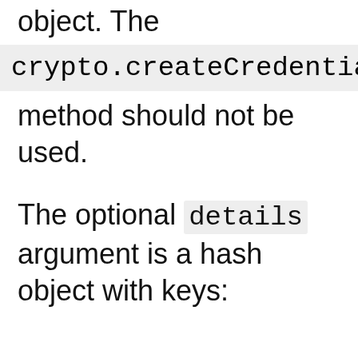object. The crypto.createCredentia method should not be used.
The optional details argument is a hash object with keys: